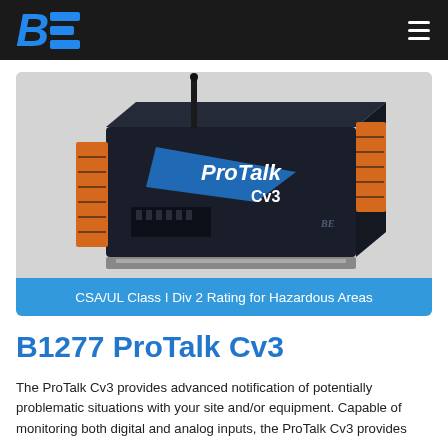BE logo and navigation
[Figure (photo): ProTalk Cv3 industrial device with orange terminal connectors and wireless antenna, black enclosure with blue ProTalk Cv3 branding]
CSA/UL Class I Div 2 Rating for Hazardous Areas
B1277 ProTalk Cv3
The ProTalk Cv3 provides advanced notification of potentially problematic situations with your site and/or equipment. Capable of monitoring both digital and analog inputs, the ProTalk Cv3 provides